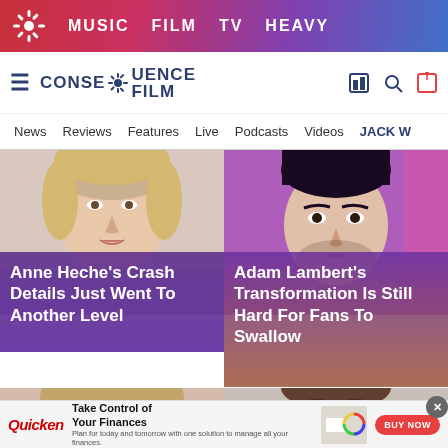MUSIC  FILM  TV  HEAVY
CONSEQUENCE FILM
News  Reviews  Features  Live  Podcasts  Videos  JACK W
Anne Heche's Crash Details Just Went To Another Level
Adam Lambert's Transformation Is Still Hard For Fans To Swallow
[Figure (photo): Photo of Anne Heche (blonde woman, close-up face)]
[Figure (photo): Photo of Adam Lambert (man, close-up face with colorful background)]
[Figure (photo): Photo of Anne Heche (blonde woman, smiling, bottom row)]
[Figure (photo): Photo of bearded man (bottom row)]
Quicken — Take Control of Your Finances. Plan for today and tomorrow with one solution to manage all your finances. BUY NOW